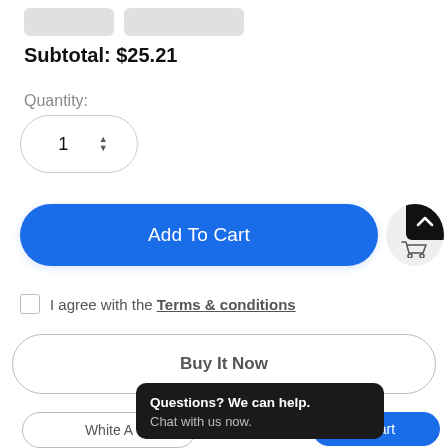Subtotal: $25.21
Quantity:
[Figure (screenshot): Quantity spinner input showing value 1 with up/down arrows]
[Figure (screenshot): Blue Add To Cart button with rounded pill shape]
[Figure (screenshot): Scroll to top circular button with upward chevron and cart icon]
I agree with the Terms & conditions
[Figure (screenshot): Buy It Now pill-shaped outline button]
Questions? We can help.
Chat with us now.
White A
o Cart